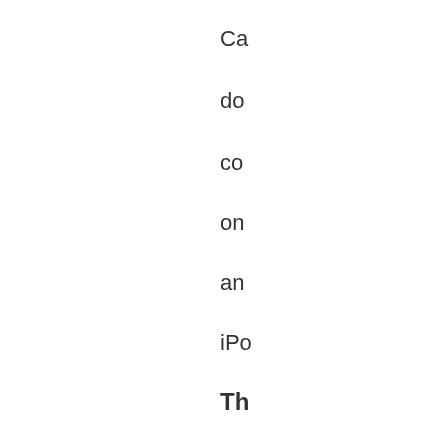Ca
do
co
on
an
iPo
Th
mu
sin
off
an
un
off
of
ho
the